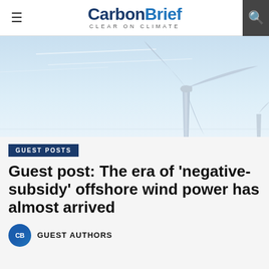CarbonBrief — CLEAR ON CLIMATE
[Figure (photo): Offshore wind turbine against a pale blue sky, with turbine blades visible]
GUEST POSTS
Guest post: The era of 'negative-subsidy' offshore wind power has almost arrived
GUEST AUTHORS